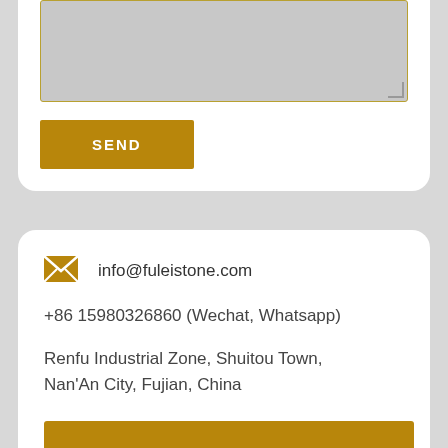[Figure (screenshot): Textarea input field (grey, partially visible at top of card)]
SEND
info@fuleistone.com
+86 15980326860 (Wechat, Whatsapp)
Renfu Industrial Zone, Shuitou Town, Nan'An City, Fujian, China
Chat via WhatsApp